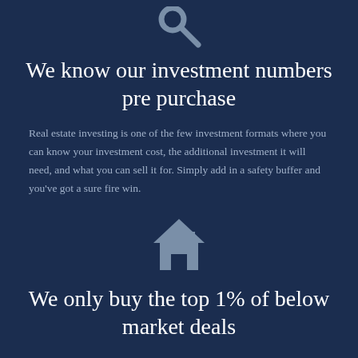[Figure (illustration): Grey magnifying glass icon on dark navy background]
We know our investment numbers pre purchase
Real estate investing is one of the few investment formats where you can know your investment cost, the additional investment it will need, and what you can sell it for. Simply add in a safety buffer and you've got a sure fire win.
[Figure (illustration): Grey house/home icon on dark navy background]
We only buy the top 1% of below market deals